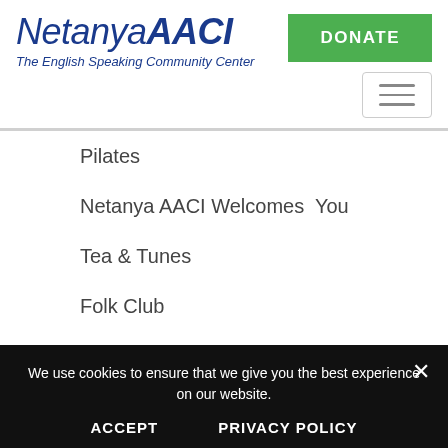NetanyaAACI – The English Speaking Community Center | DONATE
Pilates
Netanya AACI Welcomes  You
Tea & Tunes
Folk Club
Zumba Gold
Exercises for Women with Orly Sasson
We use cookies to ensure that we give you the best experience on our website.
ACCEPT    PRIVACY POLICY